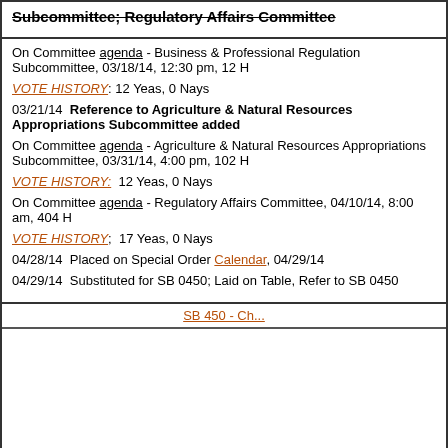Subcommittee; Regulatory Affairs Committee (strikethrough)
On Committee agenda - Business & Professional Regulation Subcommittee, 03/18/14, 12:30 pm, 12 H
VOTE HISTORY: 12 Yeas, 0 Nays
03/21/14  Reference to Agriculture & Natural Resources Appropriations Subcommittee added
On Committee agenda - Agriculture & Natural Resources Appropriations Subcommittee, 03/31/14, 4:00 pm, 102 H
VOTE HISTORY:  12 Yeas, 0 Nays
On Committee agenda - Regulatory Affairs Committee, 04/10/14, 8:00 am, 404 H
VOTE HISTORY;  17 Yeas, 0 Nays
04/28/14  Placed on Special Order Calendar, 04/29/14
04/29/14  Substituted for SB 0450; Laid on Table, Refer to SB 0450
SB 450 - Ch...